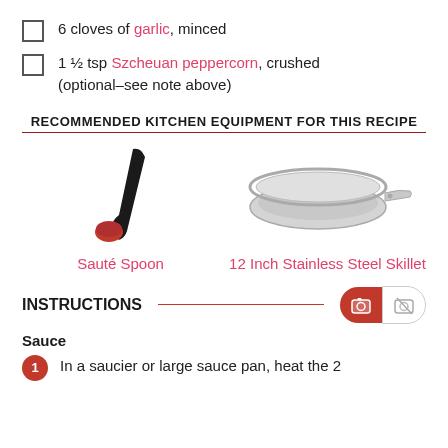6 cloves of garlic, minced
1 ½ tsp Szcheuan peppercorn, crushed (optional–see note above)
RECOMMENDED KITCHEN EQUIPMENT FOR THIS RECIPE
[Figure (photo): Sauté Spoon – black silicone spoon with red base]
Sauté Spoon
[Figure (photo): 12 Inch Stainless Steel Skillet – silver stainless pan with long handle]
12 Inch Stainless Steel Skillet
INSTRUCTIONS
Sauce
In a saucier or large sauce pan, heat the 2